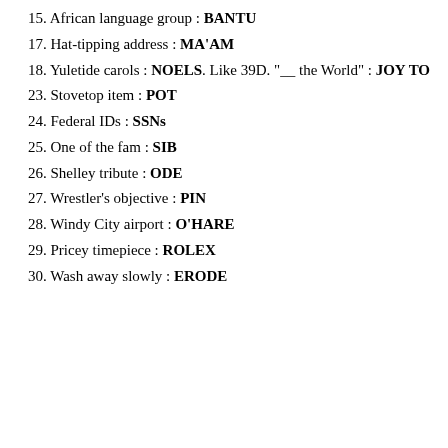15. African language group : BANTU
17. Hat-tipping address : MA'AM
18. Yuletide carols : NOELS. Like 39D. "__ the World" : JOY TO
23. Stovetop item : POT
24. Federal IDs : SSNs
25. One of the fam : SIB
26. Shelley tribute : ODE
27. Wrestler's objective : PIN
28. Windy City airport : O'HARE
29. Pricey timepiece : ROLEX
30. Wash away slowly : ERODE